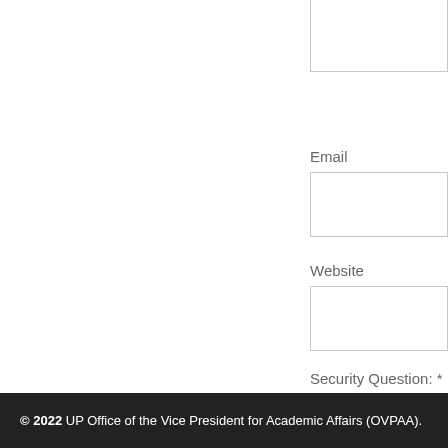Email
Website
Security Question: *
× one =
© 2022 UP Office of the Vice President for Academic Affairs (OVPAA).